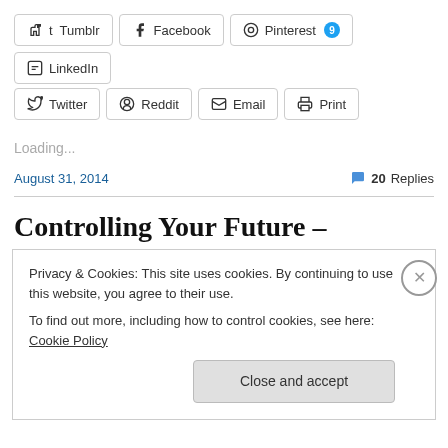Tumblr | Facebook | Pinterest 9 | LinkedIn
Twitter | Reddit | Email | Print
Loading...
August 31, 2014
20 Replies
Controlling Your Future –
Privacy & Cookies: This site uses cookies. By continuing to use this website, you agree to their use. To find out more, including how to control cookies, see here: Cookie Policy
Close and accept